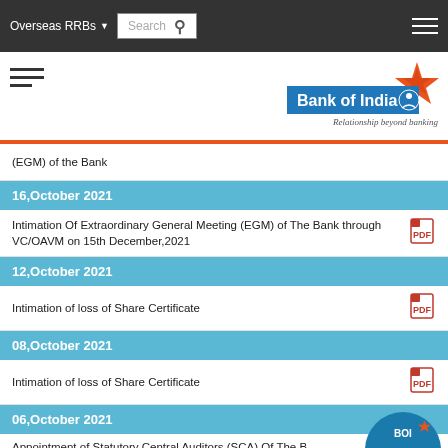Overseas RRBs  Search  [navigation bar]
[Figure (logo): Bank of India logo with orange star and tagline 'Relationship beyond banking']
(EGM) of the Bank
16,October 2021
Intimation Of Extraordinary General Meeting (EGM) of The Bank through VC/OAVM on 15th December,2021
12,October 2021
Intimation of loss of Share Certificate
08,October 2021
Intimation of loss of Share Certificate
06,October 2021
Appointment of Statutory Central Auditors (SCA) Of The B...
Regulation 74 (5) of the SEBI (Depositories and Participants) Regulation. 2018 for the Quarter/Half-Year ended 30th September,2021
[Figure (logo): BOI SEVA circular badge/button]